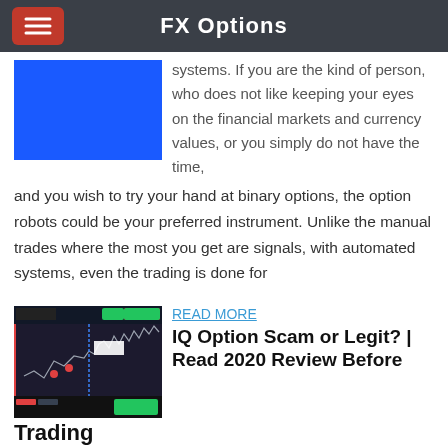FX Options
systems. If you are the kind of person, who does not like keeping your eyes on the financial markets and currency values, or you simply do not have the time, and you wish to try your hand at binary options, the option robots could be your preferred instrument. Unlike the manual trades where the most you get are signals, with automated systems, even the trading is done for
READ MORE
IQ Option Scam or Legit? | Read 2020 Review Before Trading
2010/07/27 · New Internet fad purports to offer a low-risk way to make money fast. Don't be fooled. You might as well play roulette. Some sites provide free guides to binary option trading to get you